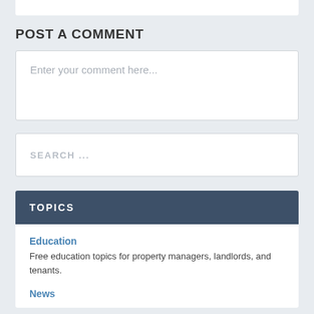POST A COMMENT
Enter your comment here...
SEARCH ...
TOPICS
Education
Free education topics for property managers, landlords, and tenants.
News